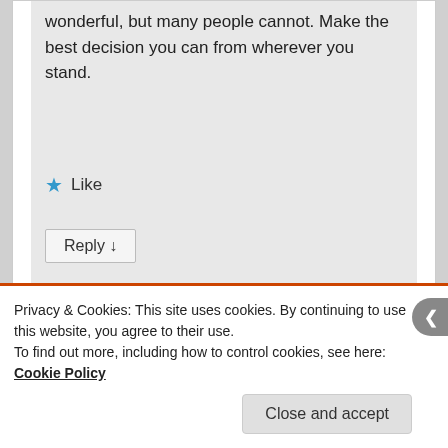wonderful, but many people cannot. Make the best decision you can from wherever you stand.
★ Like
Reply ↓
[Figure (illustration): User avatar placeholder — grey silhouette of a person on grey background]
Privacy & Cookies: This site uses cookies. By continuing to use this website, you agree to their use.
To find out more, including how to control cookies, see here: Cookie Policy
Close and accept